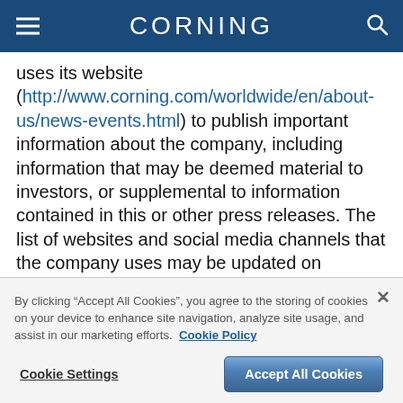CORNING
uses its website (http://www.corning.com/worldwide/en/about-us/news-events.html) to publish important information about the company, including information that may be deemed material to investors, or supplemental to information contained in this or other press releases. The list of websites and social media channels that the company uses may be updated on Corning's media and website from time to time. Corning encourages investors, media, and other interested parties to review the
By clicking “Accept All Cookies”, you agree to the storing of cookies on your device to enhance site navigation, analyze site usage, and assist in our marketing efforts. Cookie Policy
Cookie Settings
Accept All Cookies